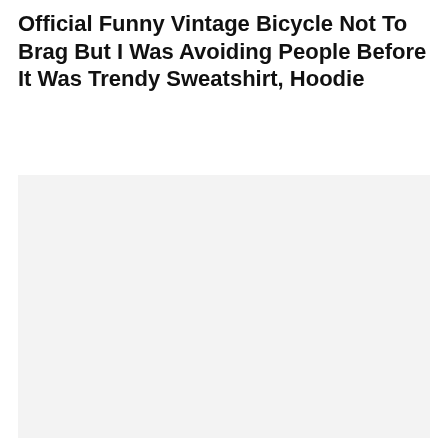Official Funny Vintage Bicycle Not To Brag But I Was Avoiding People Before It Was Trendy Sweatshirt, Hoodie
[Figure (photo): Large light gray rectangular placeholder image area, no visible content.]